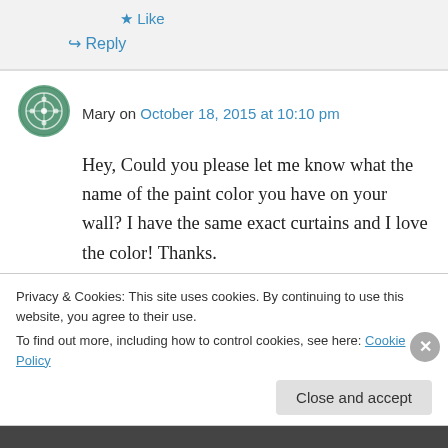★ Like
↳ Reply
Mary on October 18, 2015 at 10:10 pm
Hey, Could you please let me know what the name of the paint color you have on your wall? I have the same exact curtains and I love the color! Thanks.
★ Like
Privacy & Cookies: This site uses cookies. By continuing to use this website, you agree to their use.
To find out more, including how to control cookies, see here: Cookie Policy